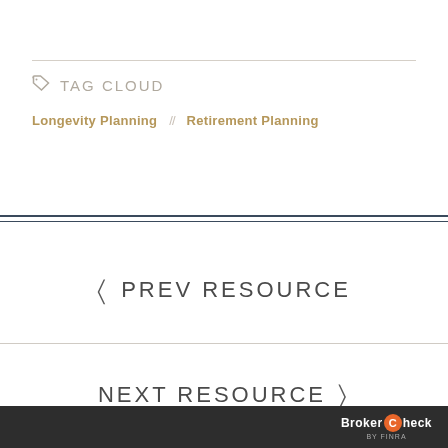TAG CLOUD
Longevity Planning // Retirement Planning
< PREV RESOURCE
NEXT RESOURCE >
BrokerCheck by FINRA